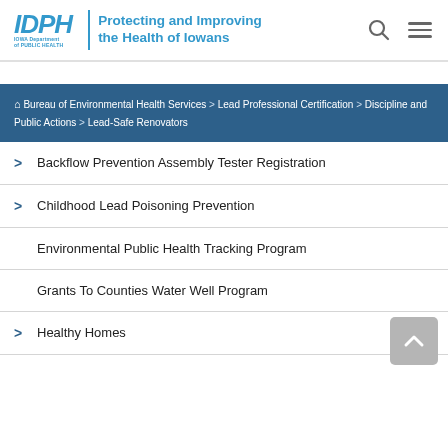IDPH | Protecting and Improving the Health of Iowans
Bureau of Environmental Health Services > Lead Professional Certification > Discipline and Public Actions > Lead-Safe Renovators
Backflow Prevention Assembly Tester Registration
Childhood Lead Poisoning Prevention
Environmental Public Health Tracking Program
Grants To Counties Water Well Program
Healthy Homes